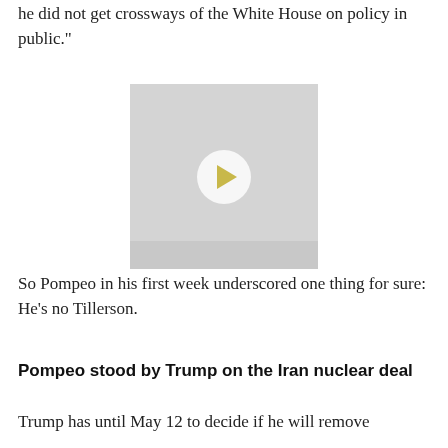he did not get crossways of the White House on policy in public."
[Figure (screenshot): Video player thumbnail with gray background and a play button in the center]
So Pompeo in his first week underscored one thing for sure: He’s no Tillerson.
Pompeo stood by Trump on the Iran nuclear deal
Trump has until May 12 to decide if he will remove